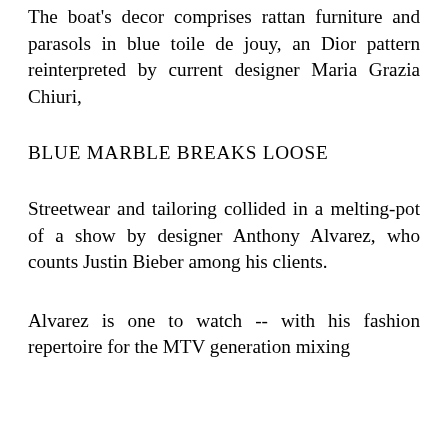The boat's decor comprises rattan furniture and parasols in blue toile de jouy, an Dior pattern reinterpreted by current designer Maria Grazia Chiuri,
BLUE MARBLE BREAKS LOOSE
Streetwear and tailoring collided in a melting-pot of a show by designer Anthony Alvarez, who counts Justin Bieber among his clients.
Alvarez is one to watch -- with his fashion repertoire for the MTV generation mixing